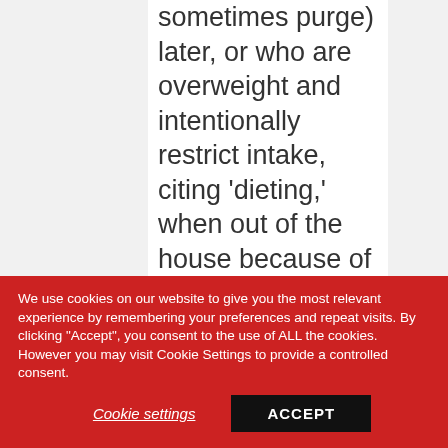sometimes purge) later, or who are overweight and intentionally restrict intake, citing 'dieting,' when out of the house because of
We use cookies on our website to give you the most relevant experience by remembering your preferences and repeat visits. By clicking "Accept", you consent to the use of ALL the cookies. However you may visit Cookie Settings to provide a controlled consent.
Cookie settings
ACCEPT